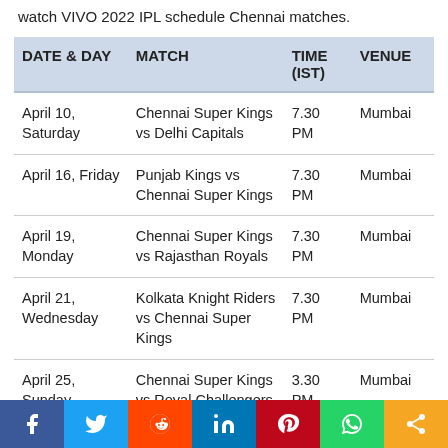watch VIVO 2022 IPL schedule Chennai matches.
| DATE & DAY | MATCH | TIME (IST) | VENUE |
| --- | --- | --- | --- |
| April 10, Saturday | Chennai Super Kings vs Delhi Capitals | 7.30 PM | Mumbai |
| April 16, Friday | Punjab Kings vs Chennai Super Kings | 7.30 PM | Mumbai |
| April 19, Monday | Chennai Super Kings vs Rajasthan Royals | 7.30 PM | Mumbai |
| April 21, Wednesday | Kolkata Knight Riders vs Chennai Super Kings | 7.30 PM | Mumbai |
| April 25, Sunday | Chennai Super Kings vs Royal Challengers | 3.30 PM | Mumbai |